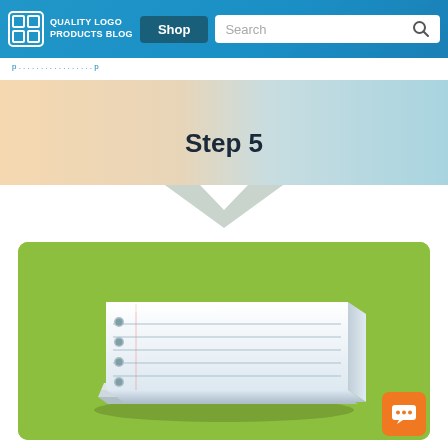QUALITY LOGO PRODUCTS BLOG | Shop | Search
[Figure (infographic): Step 5 banner with arrow chevron shape, gradient from peach/orange on left to light blue on right, with 'Step 5' label in center dark text pointing downward]
[Figure (illustration): Stack of lined notebook paper pages with hole punches on left side, displayed on a green rounded-rectangle background card]